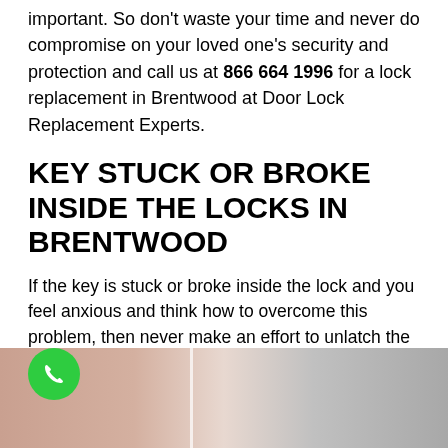important. So don't waste your time and never do compromise on your loved one's security and protection and call us at 866 664 1996 for a lock replacement in Brentwood at Door Lock Replacement Experts.
KEY STUCK OR BROKE INSIDE THE LOCKS IN BRENTWOOD
If the key is stuck or broke inside the lock and you feel anxious and think how to overcome this problem, then never make an effort to unlatch the door handle because it would create more issues and also can reach you in a risky condition. At Door Lock Replacement Experts we provide you the best lock replacement services to meet this problem.
[Figure (photo): Bottom portion of a door/lock image with a green phone call button circle overlay on the left side]